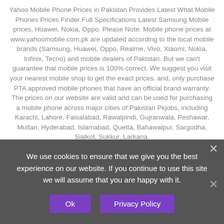Yahoo Mobile Phone Prices in Pakistan Provides Latest What Mobile Phones Prices Finder Full Specifications Latest Samsung Mobile prices, Huawei, Nokia, Oppo. Please Note: Mobile phone prices at www.yahoomobile.com.pk are updated according to the local mobile brands (Samsung, Huawei, Oppo, Realme, Vivo, Xiaomi, Nokia, Infinix, Tecno) and mobile dealers of Pakistan. But we can't guarantee that mobile prices is 100% correct. We suggest you visit your nearest mobile shop to get the exact prices. and, only purchase PTA approved mobile phones that have an official brand warranty. The prices on our website are valid and can be used for purchasing a mobile phone across major cities of Pakistan Pkjobs, including Karachi, Lahore, Faisalabad, Rawalpindi, Gujranwala, Peshawar, Multan, Hyderabad, Islamabad, Quetta, Bahawalpur, Sargodha, Sialkot, Sukkur, Larkana.
You are Buy And Sell Used Mobile Phones Yahoo Mobile Site. Visit to your local shop for confirm the exact mobile prices. my yahoo mobile Pakistan - Samsung Pakistan - Nokia mobile prices - yahoo phone price
/ LG mobile prices / Samsung Mobile Price in Pakistan / Oppo Mobile Price in Pakistan / Upcoming mobile in pakistan HTC mobile prices - yahoo Mobile version Prices in Pakistan Today whatmobile prices in pakistan *Above mobi*
*prices and rates are only valid in Pakistan.*
We use cookies to ensure that we give you the best experience on our website. If you continue to use this site we will assume that you are happy with it.
Ok
Privacy Policy